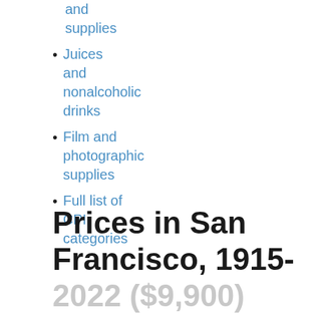and supplies
Juices and nonalcoholic drinks
Film and photographic supplies
Full list of CPI categories
Prices in San Francisco, 1915-2022 ($9,900)